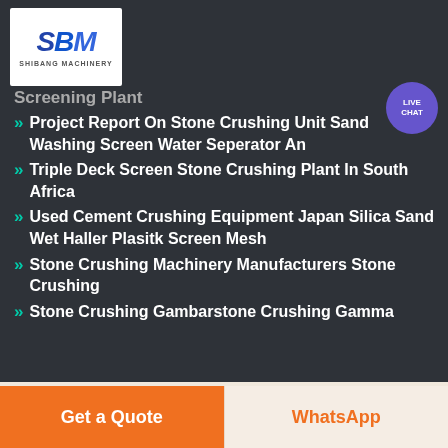[Figure (logo): SBM Shibang Machinery logo — blue stylized SBM letters on white background with 'SHIBANG MACHINERY' text below]
[Figure (other): Live Chat button — circular purple badge with 'LIVE CHAT' text and speech bubble icon]
Screening Plant
Project Report On Stone Crushing Unit Sand Washing Screen Water Seperator An
Triple Deck Screen Stone Crushing Plant In South Africa
Used Cement Crushing Equipment Japan Silica Sand Wet Haller Plasitk Screen Mesh
Stone Crushing Machinery Manufacturers Stone Crushing
Stone Crushing Gambarstone Crushing Gamma
Get a Quote
WhatsApp